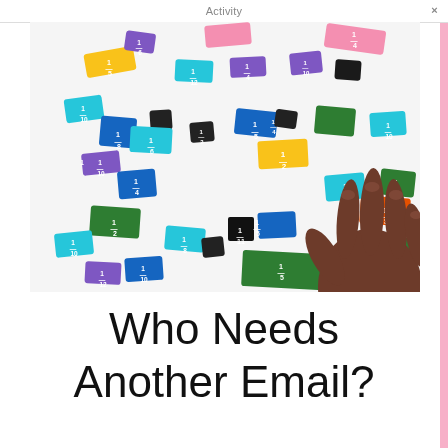Activity
[Figure (photo): A child's hand holding a small black fraction tile among many colorful fraction tiles scattered on a white surface. Tiles show fractions like 1/2, 1/3, 1/4, 1/6, 1/8, 1/10, 1/12 in various colors including blue, green, purple, teal, orange, yellow, pink, and black.]
Who Needs Another Email?